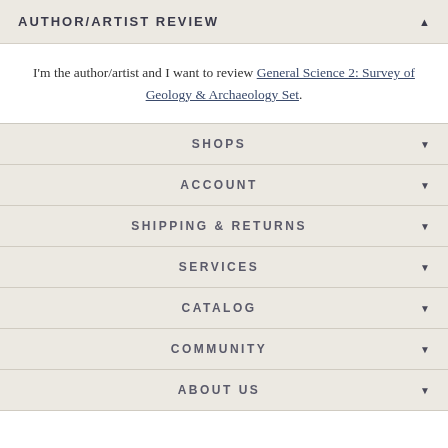AUTHOR/ARTIST REVIEW
I'm the author/artist and I want to review General Science 2: Survey of Geology & Archaeology Set.
SHOPS
ACCOUNT
SHIPPING & RETURNS
SERVICES
CATALOG
COMMUNITY
ABOUT US